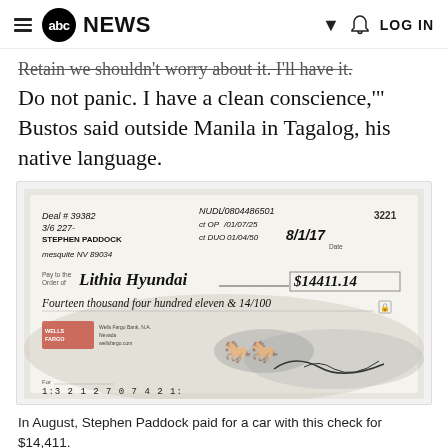abc NEWS  LOG IN
Retain we shouldn't worry about it. I'll have it. Do not panic. I have a clean conscience,"' Bustos said outside Manila in Tagalog, his native language.
[Figure (photo): Photograph of a handwritten check from Stephen Paddock to Lithia Hyundai for $14,411.14 dated 8/1/17, check number 3221, with NUDL account numbers, written on Wells Fargo bank check, with routing number 1:3 2 1 2 7 0 7 4 2 1:]
In August, Stephen Paddock paid for a car with this check for $14,411.